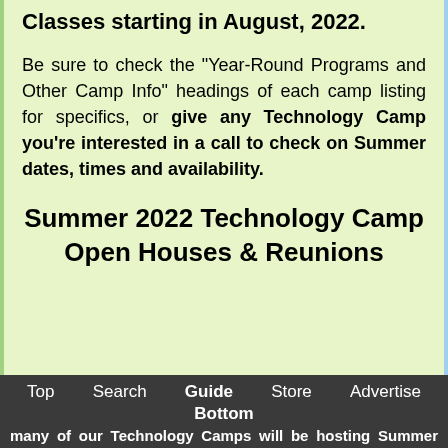Classes starting in August, 2022.
Be sure to check the "Year-Round Programs and Other Camp Info" headings of each camp listing for specifics, or give any Technology Camp you're interested in a call to check on Summer dates, times and availability.
Summer 2022 Technology Camp Open Houses & Reunions
Top  Search  Guide  Store  Advertise  Bottom  many of our Technology Camps will be hosting Summer Reunions for their